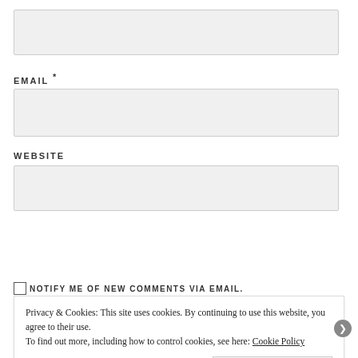[Figure (screenshot): Text input field (top, partially visible)]
EMAIL *
[Figure (screenshot): Email input field]
WEBSITE
[Figure (screenshot): Website input field]
[Figure (screenshot): POST COMMENT button (blue)]
NOTIFY ME OF NEW COMMENTS VIA EMAIL.
Privacy & Cookies: This site uses cookies. By continuing to use this website, you agree to their use. To find out more, including how to control cookies, see here: Cookie Policy
Close and accept